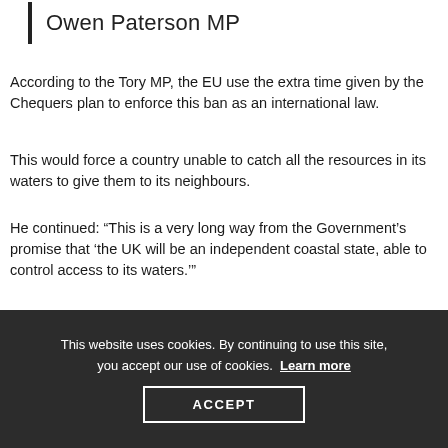Owen Paterson MP
According to the Tory MP, the EU use the extra time given by the Chequers plan to enforce this ban as an international law.
This would force a country unable to catch all the resources in its waters to give them to its neighbours.
He continued: “This is a very long way from the Government’s promise that ‘the UK will be an independent coastal state, able to control access to its waters.’”
This website uses cookies. By continuing to use this site, you accept our use of cookies. Learn more ACCEPT